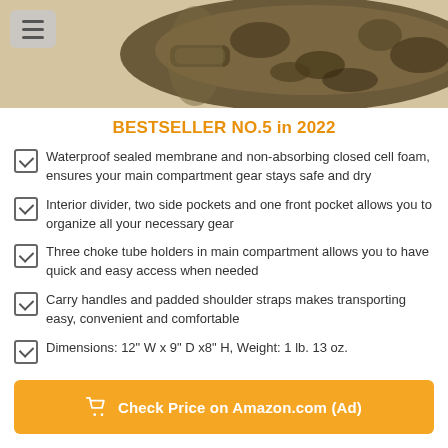[Figure (photo): Product photo of a camouflage hunting bag/case, brown and camo patterned, partially visible at top of page with a hamburger menu button overlay]
BESTSELLER NO.5 in 2022
Waterproof sealed membrane and non-absorbing closed cell foam, ensures your main compartment gear stays safe and dry
Interior divider, two side pockets and one front pocket allows you to organize all your necessary gear
Three choke tube holders in main compartment allows you to have quick and easy access when needed
Carry handles and padded shoulder straps makes transporting easy, convenient and comfortable
Dimensions: 12" W x 9" D x8" H, Weight: 1 lb. 13 oz.
Check Price on Amazon.com (Ad)